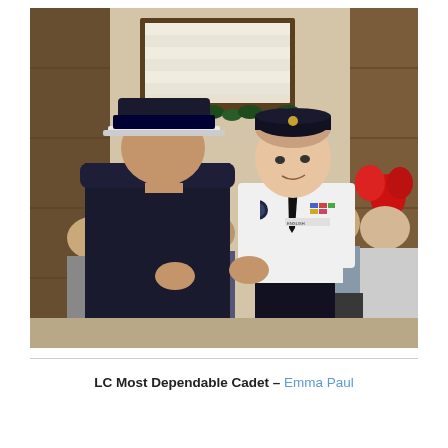[Figure (photo): A young cadet in a white uniform shirt with black necktie, black garrison cap, and black trousers receives recognition from an officer in a dark military dress uniform who has his back to the camera. The ceremony takes place in an indoor hall with wood-paneled walls and audience members seated in the background. A red holiday bow decoration is visible on the right side.]
LC Most Dependable Cadet – Emma Paul